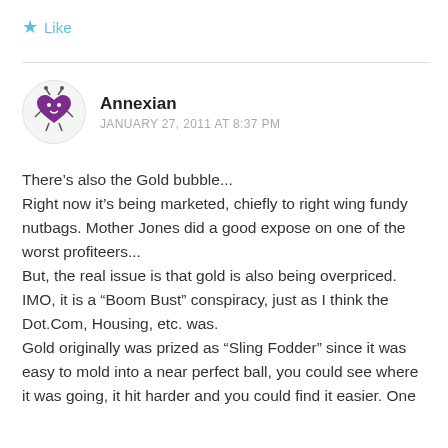Like
[Figure (illustration): Circular avatar with a cartoon purple heart character illustration on light background]
Annexian
JANUARY 27, 2011 AT 8:37 PM
There’s also the Gold bubble...
Right now it’s being marketed, chiefly to right wing fundy nutbags. Mother Jones did a good expose on one of the worst profiteers...
But, the real issue is that gold is also being overpriced. IMO, it is a “Boom Bust” conspiracy, just as I think the Dot.Com, Housing, etc. was.
Gold originally was prized as “Sling Fodder” since it was easy to mold into a near perfect ball, you could see where it was going, it hit harder and you could find it easier. One